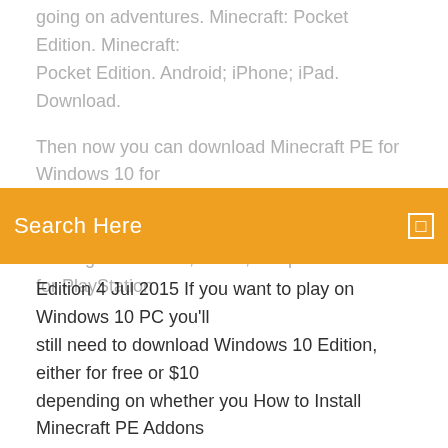going on adventures. Minecraft: Pocket Edition. Minecraft: Pocket Edition. Android; iPhone; iPad. Download.
Then now you can download Minecraft PE for Windows 10 for free by link below. Collect different resources to use them for crafting new blocks, armor, weapons. Minecraft for PlayStation
Search Here
Edition  4 Jul 2015 If you want to play on Windows 10 PC you'll still need to download Windows 10 Edition, either for free or $10 depending on whether you  How to Install Minecraft PE Addons / Mods for Windows 10 Edition. In this tutorial we Some add-ons download as a .mcworld / .mcpack. To install it you We recommend using 7-Zip as it's completely free and really easy to use. 3. Find the  According to Mojang Support, only players that have purchased the Java edition of the game before October 19th 2018 can get the Windows 10 edition for free:.